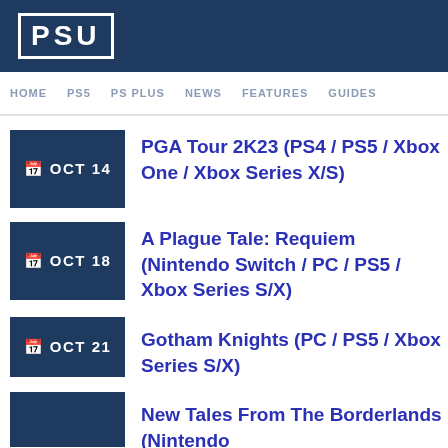PSU
HOME  PS5  PS PLUS  NEWS  FEATURES  GUIDES
OCT 14  PGA Tour 2K23 (PS4 / PS5 / Xbox One / Xbox Series X/S)
OCT 18  A Plague Tale: Requiem (Nintendo Switch / PC / PS5 / Xbox Series S/X)
OCT 21  Gotham Knights (PC / PS5 / Xbox Series S/X)
New Tales From The Borderlands (Nintendo